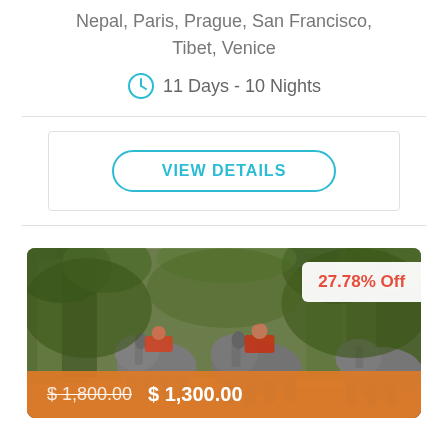Nepal, Paris, Prague, San Francisco, Tibet, Venice
11 Days - 10 Nights
VIEW DETAILS
[Figure (photo): Elephant safari in a forest, multiple elephants with riders walking on a dirt path surrounded by trees and green foliage]
27.78% Off
$ 1,800.00  $ 1,300.00